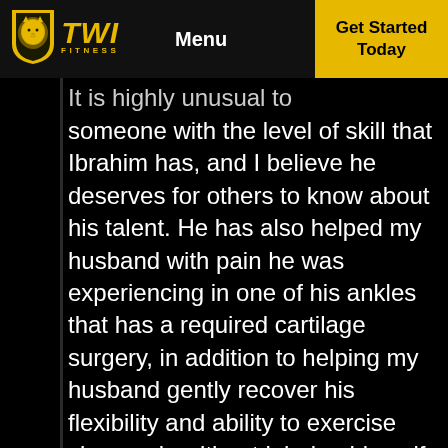TWI FITNESS | Menu | Get Started Today
It is highly unusual to someone with the level of skill that Ibrahim has, and I believe he deserves for others to know about his talent. He has also helped my husband with pain he was experiencing in one of his ankles that has a required cartilage surgery, in addition to helping my husband gently recover his flexibility and ability to exercise vigorously without injuring himself. Ibrahim is undoubtedly a valuable asset to thosewho have had the opportunity to utilize his